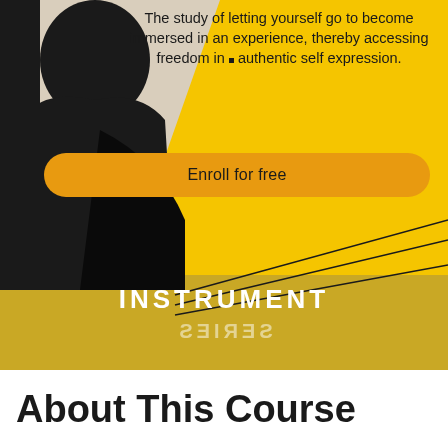[Figure (illustration): Course banner image with yellow/gold background, black silhouette figure on left side, diagonal string/bow lines in lower right area, and 'INSTRUMENT SERIES' text in gold band at bottom of image.]
The study of letting yourself go to become immersed in an experience, thereby accessing freedom in authentic self expression.
Enroll for free
INSTRUMENT SERIES
About This Course